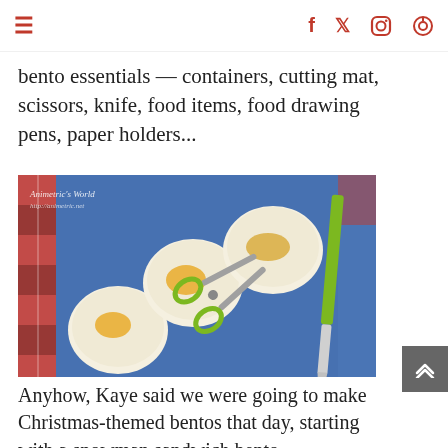≡  f  🐦  📷  🔍
bento essentials — containers, cutting mat, scissors, knife, food items, food drawing pens, paper holders...
[Figure (photo): Photo of a blue cutting board with three round sandwich circles (with cheese filling visible), a pair of green-handled scissors, and a green knife, on a red checkered tablecloth. Watermark reads 'Animetric's World http://animetric.net']
Anyhow, Kaye said we were going to make Christmas-themed bentos that day, starting with a snowman sandwich bento.